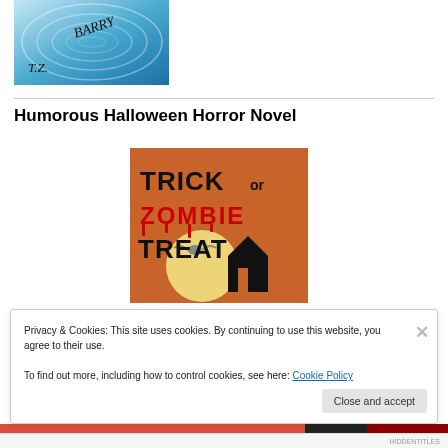[Figure (illustration): Book cover with blue swirling background and handwritten author text 'T.Z. BARRY']
Humorous Halloween Horror Novel
[Figure (illustration): Book cover for 'Trick or Zombie Treat' showing pixel-art style title text with red dripping letters on orange background with moon, bat and haunted house silhouette]
Privacy & Cookies: This site uses cookies. By continuing to use this website, you agree to their use.
To find out more, including how to control cookies, see here: Cookie Policy